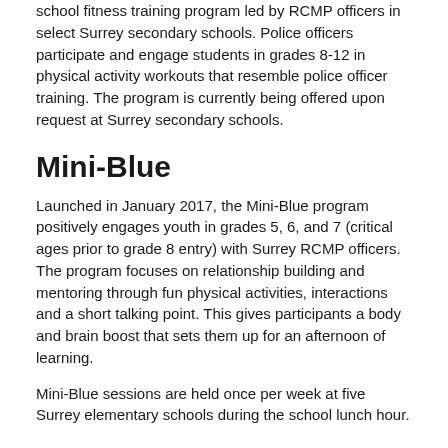school fitness training program led by RCMP officers in select Surrey secondary schools. Police officers participate and engage students in grades 8-12 in physical activity workouts that resemble police officer training. The program is currently being offered upon request at Surrey secondary schools.
Mini-Blue
Launched in January 2017, the Mini-Blue program positively engages youth in grades 5, 6, and 7 (critical ages prior to grade 8 entry) with Surrey RCMP officers. The program focuses on relationship building and mentoring through fun physical activities, interactions and a short talking point. This gives participants a body and brain boost that sets them up for an afternoon of learning.
Mini-Blue sessions are held once per week at five Surrey elementary schools during the school lunch hour.